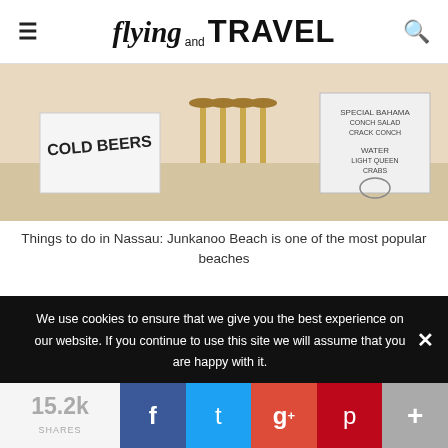flying and TRAVEL
[Figure (photo): Beach scene with cold beer and menu signs on a sandy beach, bar stools visible in background]
Things to do in Nassau: Junkanoo Beach is one of the most popular beaches
11. Pirates of Nassau
If there's one thing that's exciting about Nassau's rich past, it's pirates. The Pirates of Nassau Museum is the perfect place to go to learn more about the days of the Privateers Republic and Blackbeard and other Pirates in action...
We use cookies to ensure that we give you the best experience on our website. If you continue to use this site we will assume that you are happy with it.
15.2k SHARES